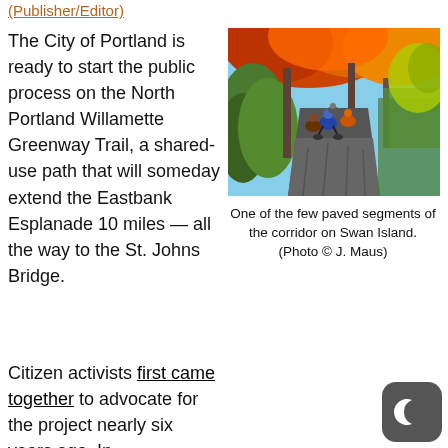(Publisher/Editor)
The City of Portland is ready to start the public process on the North Portland Willamette Greenway Trail, a shared-use path that will someday extend the Eastbank Esplanade 10 miles — all the way to the St. Johns Bridge.
[Figure (photo): Cyclists riding along a paved path lined with autumn-colored trees (orange, red, yellow foliage) and green hedges on Swan Island.]
One of the few paved segments of the corridor on Swan Island. (Photo © J. Maus)
Citizen activists first came together to advocate for the project nearly six years ago. In